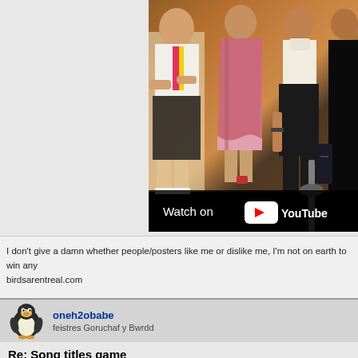[Figure (screenshot): YouTube embedded video player showing group of people in 1980s style clothing, with 'Watch on YouTube' overlay at bottom]
I don't give a damn whether people/posters like me or dislike me, I'm not on earth to win any birdsarentreal.com
oneh2obabe
feistres Goruchaf y Bwrdd
Re: Song titles game